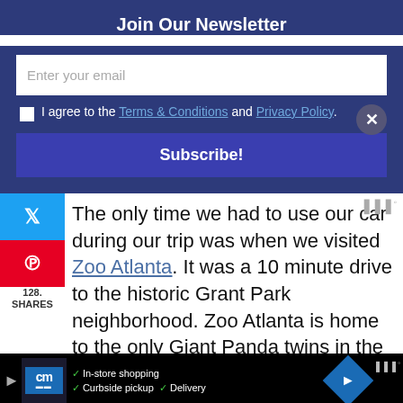Join Our Newsletter
Enter your email
I agree to the Terms & Conditions and Privacy Policy.
Subscribe!
The only time we had to use our car during our trip was when we visited Zoo Atlanta. It was a 10 minute drive to the historic Grant Park neighborhood. Zoo Atlanta is home to the only Giant Panda twins in the U.S. In addition, they
128. SHARES
[Figure (screenshot): Advertisement bar at the bottom with CM logo, checkmarks for In-store shopping, Curbside pickup, Delivery, and a blue diamond arrow icon]